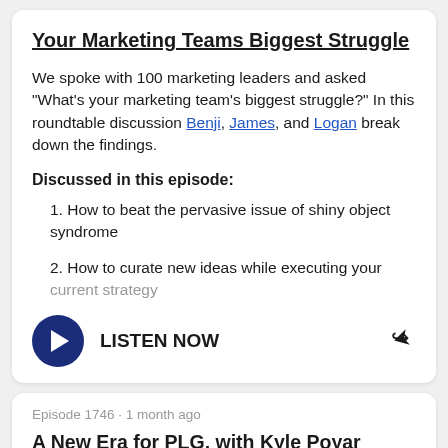Your Marketing Teams Biggest Struggle
We spoke with 100 marketing leaders and asked "What's your marketing team's biggest struggle?" In this roundtable discussion Benji, James, and Logan break down the findings.
Discussed in this episode:
1. How to beat the pervasive issue of shiny object syndrome
2. How to curate new ideas while executing your current strategy
LISTEN NOW
Episode 1746 · 1 month ago
A New Era for PLG, with Kyle Poyar
In this episode, Benji talks to Kyle Poyar, Operating